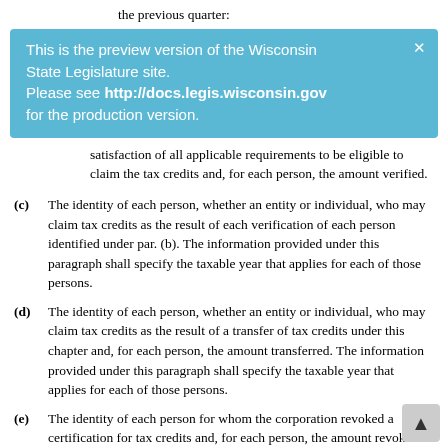the previous quarter:
[Figure (screenshot): Blue banner notification: 'This is the preview version of the Wisconsin State Legislature site. Please see http://docs.legis.wisconsin.gov for the production version.']
satisfaction of all applicable requirements to be eligible to claim the tax credits and, for each person, the amount verified.
(c) The identity of each person, whether an entity or individual, who may claim tax credits as the result of each verification of each person identified under par. (b). The information provided under this paragraph shall specify the taxable year that applies for each of those persons.
(d) The identity of each person, whether an entity or individual, who may claim tax credits as the result of a transfer of tax credits under this chapter and, for each person, the amount transferred. The information provided under this paragraph shall specify the taxable year that applies for each of those persons.
(e) The identity of each person for whom the corporation revoked a certification for tax credits and, for each person, the amount revoked.
(f) The amount of tax credits the corporation determined each person identified under par. (e) was eligible to claim that it